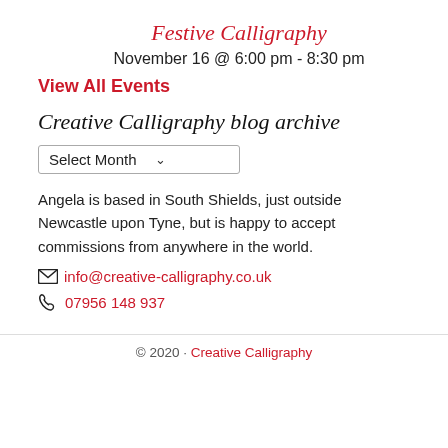Festive Calligraphy
November 16 @ 6:00 pm - 8:30 pm
View All Events
Creative Calligraphy blog archive
Select Month
Angela is based in South Shields, just outside Newcastle upon Tyne, but is happy to accept commissions from anywhere in the world.
info@creative-calligraphy.co.uk
07956 148 937
© 2020 · Creative Calligraphy